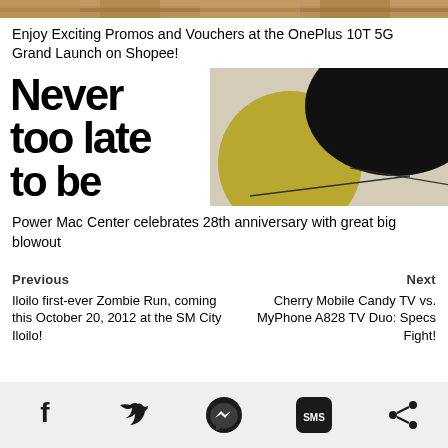[Figure (photo): Top strip showing food/bread texture in warm brown tones]
Enjoy Exciting Promos and Vouchers at the OnePlus 10T 5G Grand Launch on Shopee!
[Figure (illustration): Large text reading 'Never too late to be' with abstract yellow and black circular shapes on the right side]
Power Mac Center celebrates 28th anniversary with great big blowout
Previous
Iloilo first-ever Zombie Run, coming this October 20, 2012 at the SM City Iloilo!
Next
Cherry Mobile Candy TV vs. MyPhone A828 TV Duo: Specs Fight!
[Figure (infographic): Social sharing footer bar with Facebook, Twitter, Messenger, SMS, and Share icons]